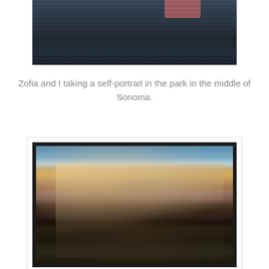[Figure (photo): Partial view of a dark fleece or blanket, close-up photo, top portion cut off]
Zofia and I taking a self-portrait in the park in the middle of Sonoma.
[Figure (photo): Two women outdoors holding puppies, one with curly blonde hair and one with straight hair wearing sunglasses, sunny day with hills in background, photo has dark border frame]